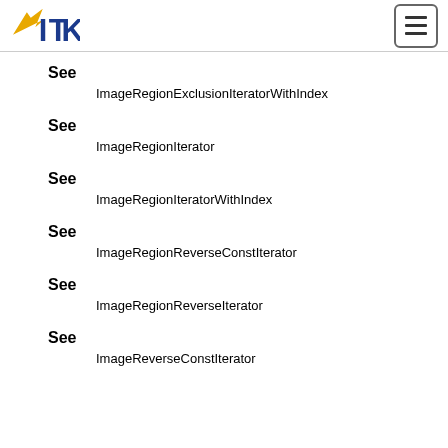ITK
See
ImageRegionExclusionIteratorWithIndex
See
ImageRegionIterator
See
ImageRegionIteratorWithIndex
See
ImageRegionReverseConstIterator
See
ImageRegionReverseIterator
See
ImageReverseConstIterator